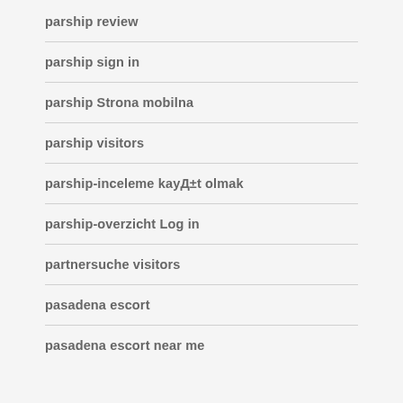parship review
parship sign in
parship Strona mobilna
parship visitors
parship-inceleme kayД±t olmak
parship-overzicht Log in
partnersuche visitors
pasadena escort
pasadena escort near me